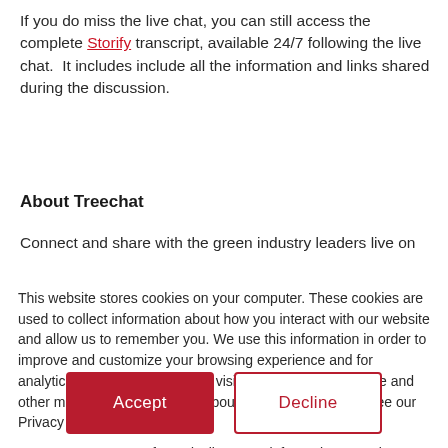If you do miss the live chat, you can still access the complete Storify transcript, available 24/7 following the live chat. It includes include all the information and links shared during the discussion.
About Treechat
Connect and share with the green industry leaders live on
This website stores cookies on your computer. These cookies are used to collect information about how you interact with our website and allow us to remember you. We use this information in order to improve and customize your browsing experience and for analytics and metrics about our visitors both on this website and other media. To find out more about the cookies we use, see our Privacy Policy.
If you decline, your information won't be tracked when you visit this website. A single cookie will be used in your browser to remember your preference not to be tracked.